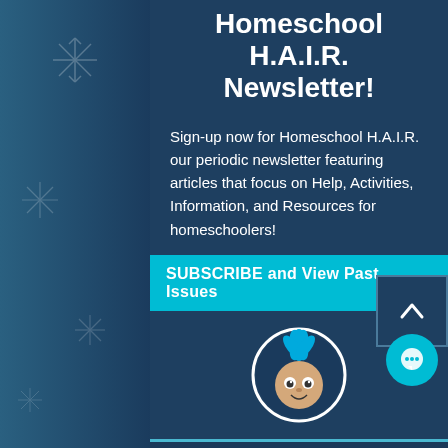Homeschool H.A.I.R. Newsletter!
Sign-up now for Homeschool H.A.I.R. our periodic newsletter featuring articles that focus on Help, Activities, Information, and Resources for homeschoolers!
SUBSCRIBE and View Past Issues
[Figure (logo): Homeschool Concierge logo — cartoon face with wild blue hair inside a circular frame]
Info@HomeschoolConcierge